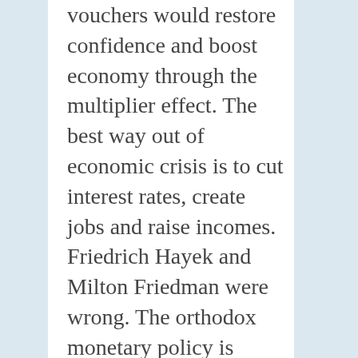vouchers would restore confidence and boost economy through the multiplier effect. The best way out of economic crisis is to cut interest rates, create jobs and raise incomes. Friedrich Hayek and Milton Friedman were wrong. The orthodox monetary policy is damaging. Money is not a commodity! Interest rates are a social construction. George Osborne´s expansionary